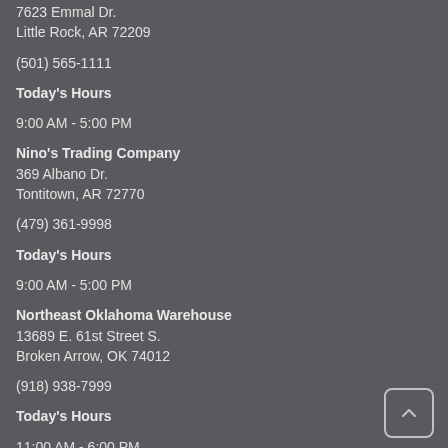7623 Emmal Dr.
Little Rock, AR 72209
(501) 565-1111
Today's Hours
9:00 AM - 5:00 PM
Nino's Trading Company
369 Albano Dr.
Tontitown, AR 72770
(479) 361-9998
Today's Hours
9:00 AM - 5:00 PM
Northeast Oklahoma Warehouse
13689 E. 61st Street S.
Broken Arrow, OK 74012
(918) 938-7999
Today's Hours
11:00 AM - 6:00 PM